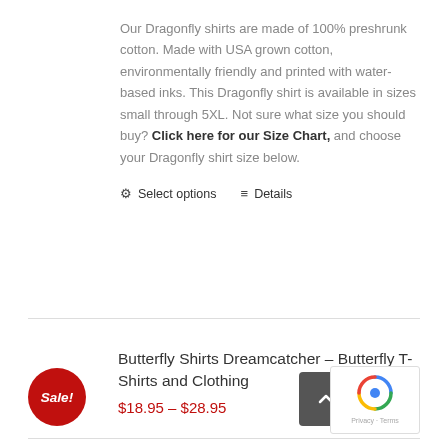Our Dragonfly shirts are made of 100% preshrunk cotton. Made with USA grown cotton, environmentally friendly and printed with water-based inks. This Dragonfly shirt is available in sizes small through 5XL. Not sure what size you should buy? Click here for our Size Chart, and choose your Dragonfly shirt size below.
Select options   Details
Butterfly Shirts Dreamcatcher – Butterfly T-Shirts and Clothing
$18.95 – $28.95